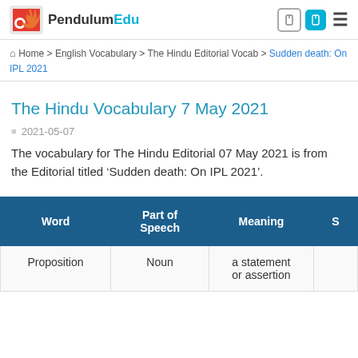PendulumEdu
Home > English Vocabulary > The Hindu Editorial Vocab > Sudden death: On IPL 2021
The Hindu Vocabulary 7 May 2021
2021-05-07
The vocabulary for The Hindu Editorial 07 May 2021 is from the Editorial titled ‘Sudden death: On IPL 2021’.
| Word | Part of Speech | Meaning | S |
| --- | --- | --- | --- |
| Proposition | Noun | a statement or assertion |  |